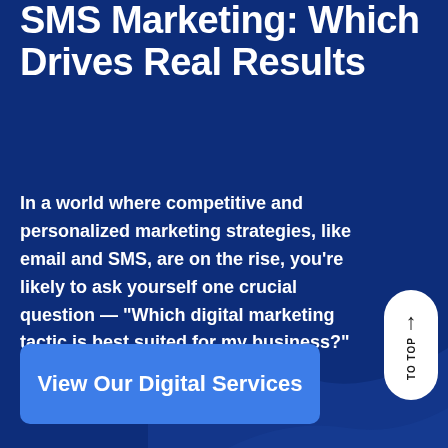SMS Marketing: Which Drives Real Results
In a world where competitive and personalized marketing strategies, like email and SMS, are on the rise, you're likely to ask yourself one crucial question — "Which digital marketing tactic is best suited for my business?"
[Figure (other): TO TOP navigation button — white pill-shaped button with upward arrow and 'TO TOP' text rotated vertically]
[Figure (other): Blue rounded rectangle button with text 'View Our Digital Services']
View Our Digital Services